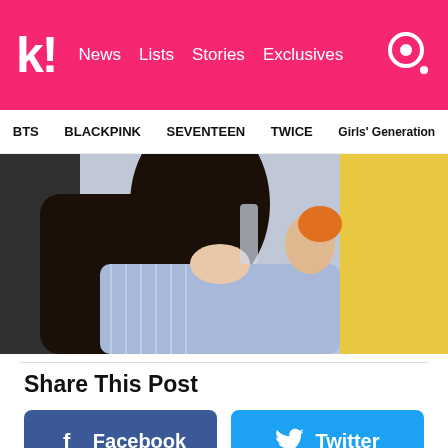k! News | Lists | Stories | Exclusives
BTS | BLACKPINK | SEVENTEEN | TWICE | Girls' Generation
[Figure (photo): A woman with long dark hair in a blue striped top, drinking or eating something orange, with a yellow background.]
Share This Post
Facebook
Twitter